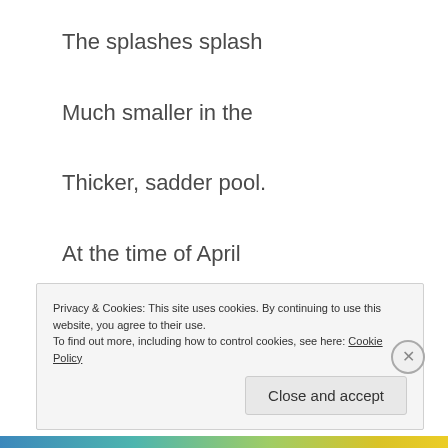The splashes splash
Much smaller in the
Thicker, sadder pool.
At the time of April
Water (loving self)
Splashes higher into water.
Privacy & Cookies: This site uses cookies. By continuing to use this website, you agree to their use.
To find out more, including how to control cookies, see here: Cookie Policy
Close and accept